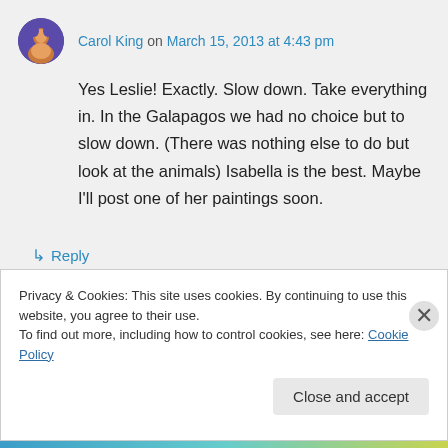Carol King on March 15, 2013 at 4:43 pm
Yes Leslie! Exactly. Slow down. Take everything in. In the Galapagos we had no choice but to slow down. (There was nothing else to do but look at the animals) Isabella is the best. Maybe I'll post one of her paintings soon.
↳ Reply
Privacy & Cookies: This site uses cookies. By continuing to use this website, you agree to their use.
To find out more, including how to control cookies, see here: Cookie Policy
Close and accept